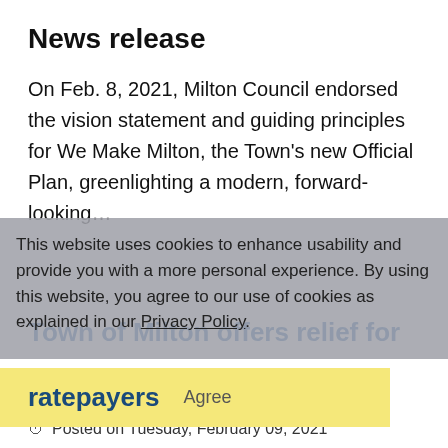News release
On Feb. 8, 2021, Milton Council endorsed the vision statement and guiding principles for We Make Milton, the Town’s new Official Plan, greenlighting a modern, forward-looking…
This website uses cookies to enhance usability and provide you with a more personal experience. By using this website, you agree to our use of cookies as explained in our Privacy Policy.
Town of Milton offers relief for ratepayers
Agree
Posted on Tuesday, February 09, 2021